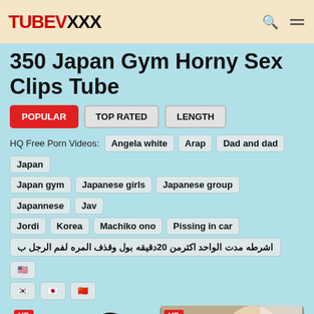TUBEVXXX
350 Japan Gym Horny Sex Clips Tube
POPULAR | TOP RATED | LENGTH
HQ Free Porn Videos: Angela white  Arap  Dad and dad  Japan  Japan gym  Japanese girls  Japanese group  Japannese  Jav  Jordi  Korea  Machiko ono  Pissing in car  اشرطه مدت الواحد اكثرمن 20دقيقه بول وقذف المره لفم الرجل ب
[Figure (other): Two video thumbnails with HD badges. Left thumbnail shows black circles on a light blue background. Right thumbnail shows a video scene.]